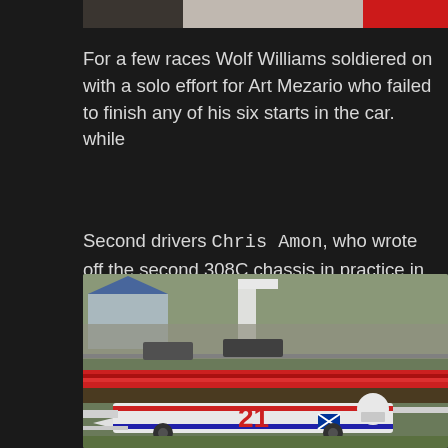[Figure (photo): Top portion of a racing car photo, partially visible at the top of the page]
For a few races Wolf Williams soldiered on with a solo effort for Art Mezario who failed to finish any of his six starts in the car. while
Second drivers Chris Amon, who wrote off the second 308C chassis in practice in his final Formula One appearance, Warwick Brown and Hans Binder all failed to impress in the last three races of the season.
[Figure (photo): Racing car number 21, a white Formula One car with red and blue stripes, photographed at a race circuit with spectators and red barriers visible in the background. A Scottish flag (saltire) is visible on the car.]